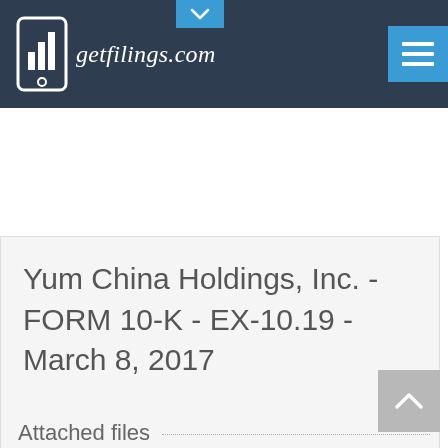[Figure (logo): getfilings.com logo with bar chart icon on smartphone and italic text]
Yum China Holdings, Inc. - FORM 10-K - EX-10.19 - March 8, 2017
Attached files